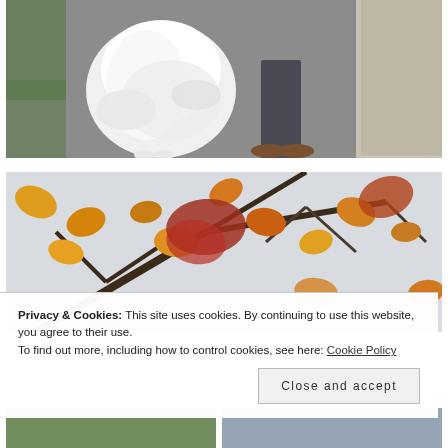[Figure (photo): Aerial view of a bride in a white dress and groom in dark trousers and brown shoes walking on a gravel path, with a stone wall to the right and grass to the left.]
[Figure (photo): Looking up through an autumn tree with orange, red, and yellow leaves against a pale sky, branches visible throughout.]
Privacy & Cookies: This site uses cookies. By continuing to use this website, you agree to their use.
To find out more, including how to control cookies, see here: Cookie Policy
[Figure (photo): Partially visible bottom strip showing two thumbnail photos — left appears to be outdoor greenery, right appears to be a landscape or outdoor scene.]